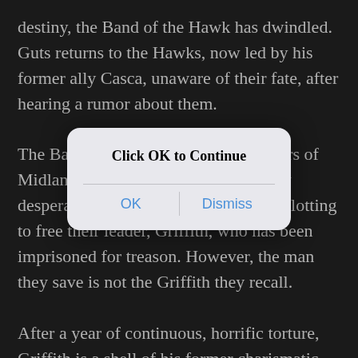destiny, the Band of the Hawk has dwindled. Guts returns to the Hawks, now led by his former ally Casca, unaware of their fate, after hearing a rumor about them.

The Band of the Hawk, once the saviors of Midland, are now being hunted as they desperately fight for their lives while plotting to free their leader, Griffith, who has been imprisoned for treason. However, the man they save is not the Griffith they recall.

After a year of continuous, horrific torture, Griffith is a shell of his former charismatic self. He his unable to walk, speak, or even hold a sword, and all he has is the small, strange trinket known as the
[Figure (screenshot): iOS-style dialog box with title 'Click OK to Continue' and two buttons: 'OK' and 'Dismiss']